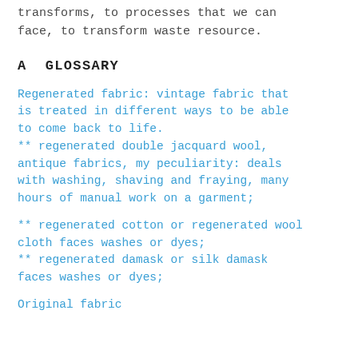transforms, to processes that we can face, to transform waste resource.
A GLOSSARY
Regenerated fabric: vintage fabric that is treated in different ways to be able to come back to life.
** regenerated double jacquard wool, antique fabrics, my peculiarity: deals with washing, shaving and fraying, many hours of manual work on a garment;

** regenerated cotton or regenerated wool cloth faces washes or dyes;
** regenerated damask or silk damask faces washes or dyes;

Original fabric